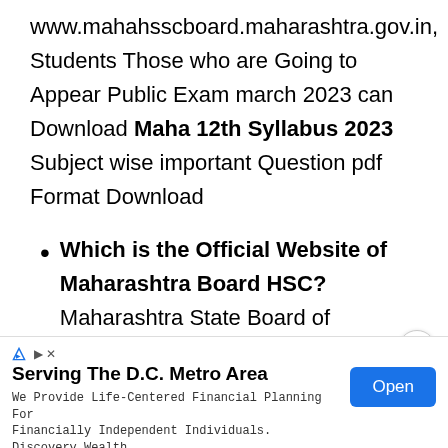www.mahahsscboard.maharashtra.gov.in, Students Those who are Going to Appear Public Exam march 2023 can Download Maha 12th Syllabus 2023 Subject wise important Question pdf Format Download
Which is the Official Website of Maharashtra Board HSC? Maharashtra State Board of Secondary and Higher Secondary Education is a
Serving The D.C. Metro Area
We Provide Life-Centered Financial Planning For Financially Independent Individuals. Discovery Wealth Planning